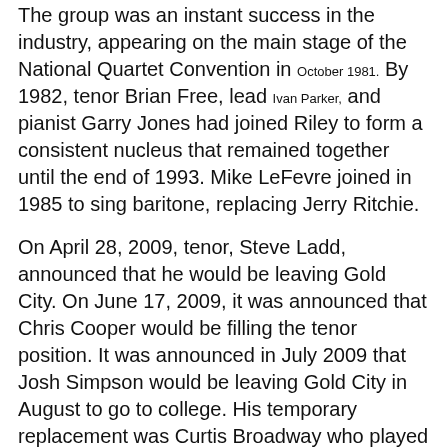The group was an instant success in the industry, appearing on the main stage of the National Quartet Convention in October 1981. By 1982, tenor Brian Free, lead Ivan Parker, and pianist Garry Jones had joined Riley to form a consistent nucleus that remained together until the end of 1993. Mike LeFevre joined in 1985 to sing baritone, replacing Jerry Ritchie.
On April 28, 2009, tenor, Steve Ladd, announced that he would be leaving Gold City. On June 17, 2009, it was announced that Chris Cooper would be filling the tenor position. It was announced in July 2009 that Josh Simpson would be leaving Gold City in August to go to college. His temporary replacement was Curtis Broadway who played on Band of Gold dates. Gold City Bus driver Jim Korn filled in on keys after the Band of Gold quit traveling with the group. It was announced on August 11. 2009 that Aaron McCune had departed Gold City and a replacement was being sought.
Later in December, it was announced that Chris Cooper left Gold City and a replacement would be found by the end of Christmas break. Over the Christmas break, it was announced that former Legacy Five tenor Josh Cobb would be joining the group, and former Ernie Haase & Signature